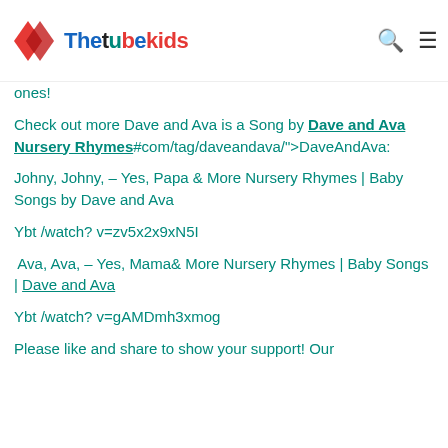Thetubekids
ones!
Check out more Dave and Ava is a Song by Dave and Ava Nursery Rhymes#com/tag/daveandava/">DaveAndAva:
Johny, Johny, – Yes, Papa & More Nursery Rhymes | Baby Songs by Dave and Ava
Ybt /watch? v=zv5x2x9xN5I
Ava, Ava, – Yes, Mama& More Nursery Rhymes | Baby Songs | Dave and Ava
Ybt /watch? v=gAMDmh3xmog
Please like and share to show your support! Our